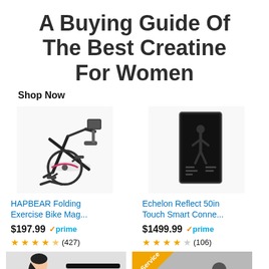A Buying Guide Of The Best Creatine For Women
Shop Now
[Figure (photo): HAPBEAR Folding Exercise Bike product photo]
HAPBEAR Folding Exercise Bike Mag...
$197.99 prime (427 reviews, 4.5 stars)
[Figure (photo): Echelon Reflect 50in Touch Smart Connect fitness mirror product photo]
Echelon Reflect 50in Touch Smart Conne...
$1499.99 prime (106 reviews, 3.5 stars)
[Figure (photo): Woman using resistance bands exercise equipment]
[Figure (photo): Person on exercise bike, Service badge overlay]